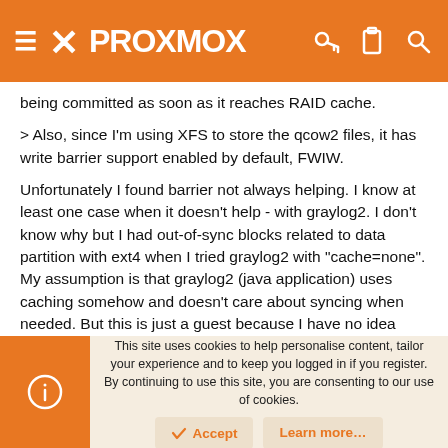Proxmox
being committed as soon as it reaches RAID cache.
> Also, since I'm using XFS to store the qcow2 files, it has write barrier support enabled by default, FWIW.
Unfortunately I found barrier not always helping. I know at least one case when it doesn't help - with graylog2. I don't know why but I had out-of-sync blocks related to data partition with ext4 when I tried graylog2 with "cache=none". My assumption is that graylog2 (java application) uses caching somehow and doesn't care about syncing when needed. But this is just a guest because I have no idea about internals of this part.
This site uses cookies to help personalise content, tailor your experience and to keep you logged in if you register.
By continuing to use this site, you are consenting to our use of cookies.